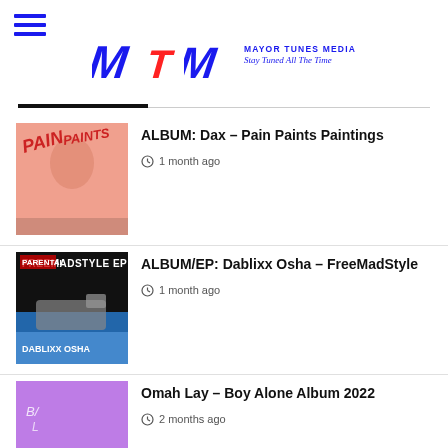[Figure (logo): Mayor Tunes Media logo with MTM text and tagline 'Stay Tuned All The Time']
ALBUM: Dax – Pain Paints Paintings — 1 month ago
ALBUM/EP: Dablixx Osha – FreeMadStyle — 1 month ago
Omah Lay – Boy Alone Album 2022 — 2 months ago